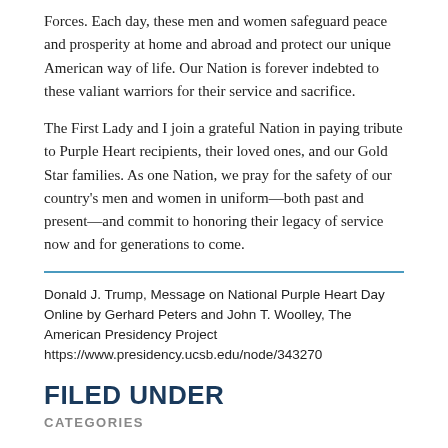Forces. Each day, these men and women safeguard peace and prosperity at home and abroad and protect our unique American way of life. Our Nation is forever indebted to these valiant warriors for their service and sacrifice.
The First Lady and I join a grateful Nation in paying tribute to Purple Heart recipients, their loved ones, and our Gold Star families. As one Nation, we pray for the safety of our country's men and women in uniform—both past and present—and commit to honoring their legacy of service now and for generations to come.
Donald J. Trump, Message on National Purple Heart Day Online by Gerhard Peters and John T. Woolley, The American Presidency Project
https://www.presidency.ucsb.edu/node/343270
FILED UNDER
CATEGORIES